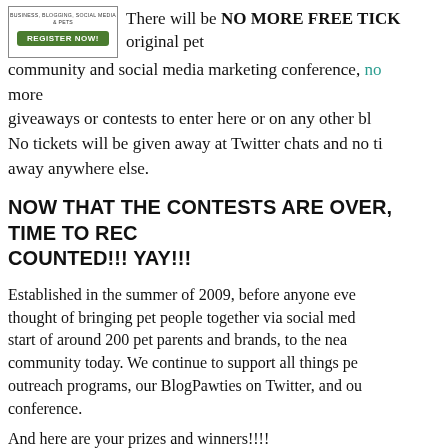[Figure (other): Register Now button graphic for a business, blogging, social media and pets conference]
There will be NO MORE FREE TICK original pet community and social media marketing conference, no more giveaways or contests to enter here or on any other blo No tickets will be given away at Twitter chats and no ti away anywhere else.
NOW THAT THE CONTESTS ARE OVER, TIME TO REC COUNTED!!! YAY!!!
Established in the summer of 2009, before anyone eve thought of bringing pet people together via social med start of around 200 pet parents and brands, to the nea community today. We continue to support all things pe outreach programs, our BlogPawties on Twitter, and ou conference.
And here are your prizes and winners!!!!